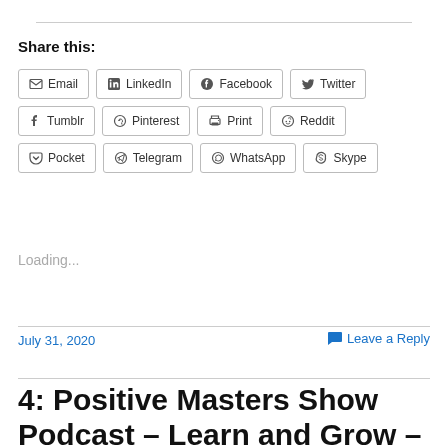Share this:
Email LinkedIn Facebook Twitter Tumblr Pinterest Print Reddit Pocket Telegram WhatsApp Skype
Loading...
July 31, 2020
Leave a Reply
4: Positive Masters Show Podcast – Learn and Grow – Audiogram